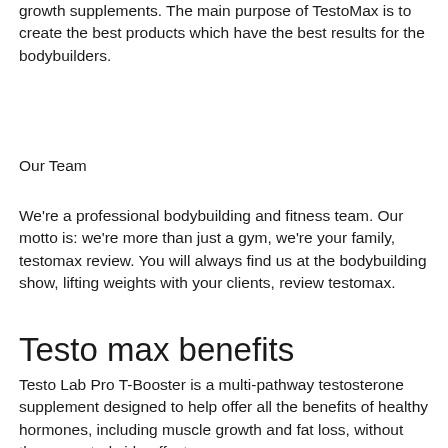growth supplements. The main purpose of TestoMax is to create the best products which have the best results for the bodybuilders.
Our Team
We're a professional bodybuilding and fitness team. Our motto is: we're more than just a gym, we're your family, testomax review. You will always find us at the bodybuilding show, lifting weights with your clients, review testomax.
Testo max benefits
Testo Lab Pro T-Booster is a multi-pathway testosterone supplement designed to help offer all the benefits of healthy hormones, including muscle growth and fat loss, without the unwanted side-effects.